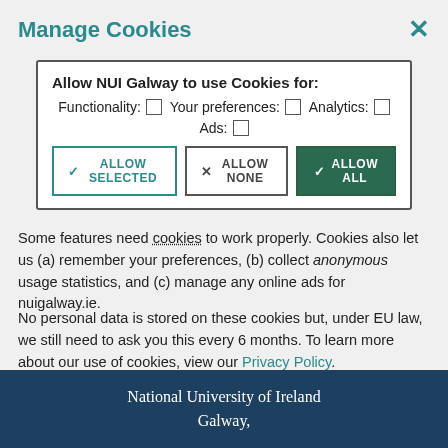Manage Cookies
Allow NUI Galway to use Cookies for: Functionality: ☐ Your preferences: ☐ Analytics: ☐ Ads: ☐
ALLOW SELECTED | ALLOW NONE | ALLOW ALL
Some features need cookies to work properly. Cookies also let us (a) remember your preferences, (b) collect anonymous usage statistics, and (c) manage any online ads for nuigalway.ie.
No personal data is stored on these cookies but, under EU law, we still need to ask you this every 6 months. To learn more about our use of cookies, view our Privacy Policy.
CONTACT
National University of Ireland Galway,